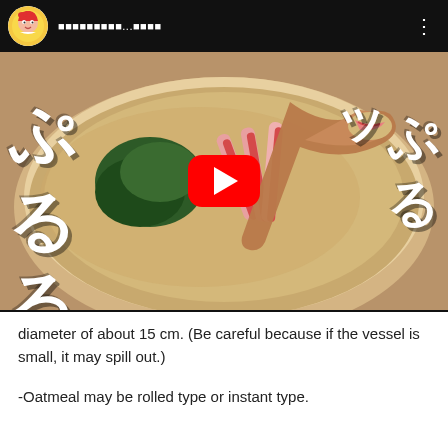[Figure (screenshot): YouTube video player screenshot showing a Japanese cooking video thumbnail with food in a bowl, Japanese text overlays reading ぷるる and ッ, and a YouTube play button in the center. Top bar shows channel avatar and Japanese channel name.]
diameter of about 15 cm. (Be careful because if the vessel is small, it may spill out.)
-Oatmeal may be rolled type or instant type.